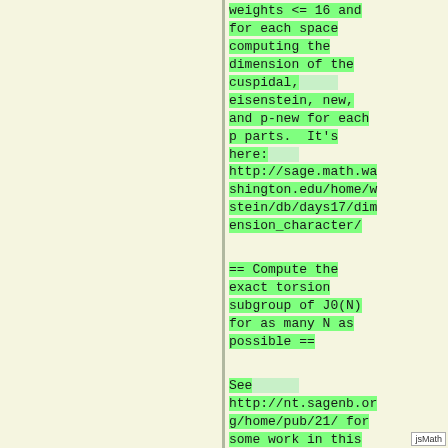weights <= 16 and for each space computing the dimension of the cuspidal, eisenstein, new, and p-new for each p parts.  It's here: http://sage.math.washington.edu/home/wstein/db/days17/dimension_character/
== Compute the exact torsion subgroup of J0(N) for as many N as possible ==
See http://nt.sagenb.org/home/pub/21/ for some work in this